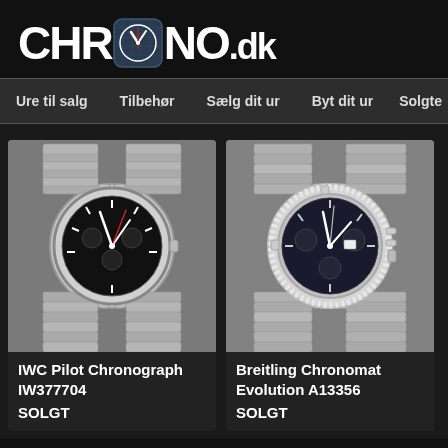CHRONO.dk
Ure til salg  Tilbehør  Sælg dit ur  Byt dit ur  Solgte
[Figure (photo): IWC Pilot Chronograph watch with black dial and steel bracelet on grey background]
IWC Pilot Chronograph IW377704
SOLGT
[Figure (photo): Breitling Chronomat Evolution A13356 watch with dark dial, diamond bezel and steel bracelet on grey background]
Breitling Chronomat Evolution A13356
SOLGT